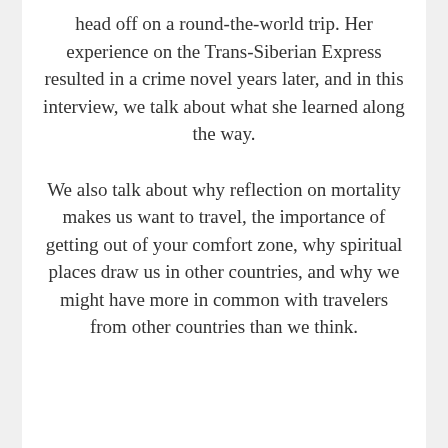head off on a round-the-world trip. Her experience on the Trans-Siberian Express resulted in a crime novel years later, and in this interview, we talk about what she learned along the way.
We also talk about why reflection on mortality makes us want to travel, the importance of getting out of your comfort zone, why spiritual places draw us in other countries, and why we might have more in common with travelers from other countries than we think.